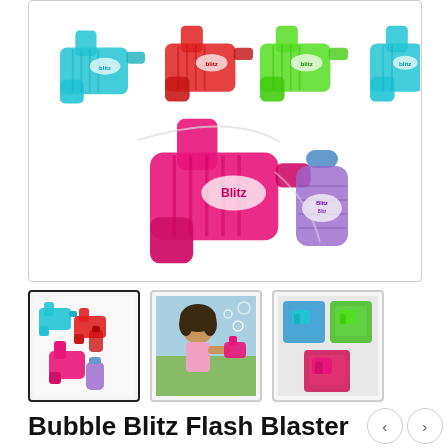[Figure (photo): Main product image showing multiple Bubble Blitz Flash Blaster toy bubble guns in various colors (teal, red, green, pink) along with bubble solution bottles in purple, displayed on white background]
[Figure (photo): Thumbnail 1 (selected): Group of colorful bubble blaster toys - teal, red, pink with purple bottle]
[Figure (photo): Thumbnail 2: Young girl with curly hair blowing bubbles outdoors with a pink bubble blaster]
[Figure (photo): Thumbnail 3: Multiple packaged Bubble Blitz Flash Blaster products in retail packaging]
Bubble Blitz Flash Blaster